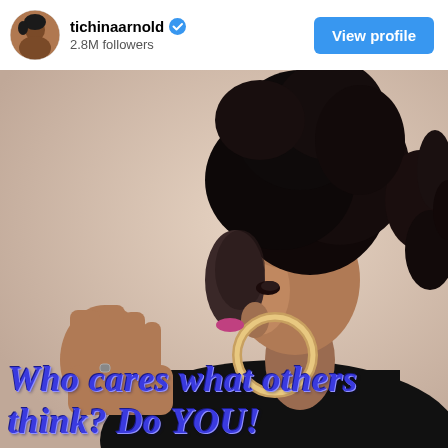tichinaarnold (verified) · 2.8M followers · View profile
[Figure (photo): A woman with a dramatic short curly mohawk hairstyle and shaved sides, wearing large hoop earrings and a black outfit, photographed in profile/three-quarter view with her hand raised near her face. Text overlaid at the bottom reads: 'Who cares what others think? Do YOU!']